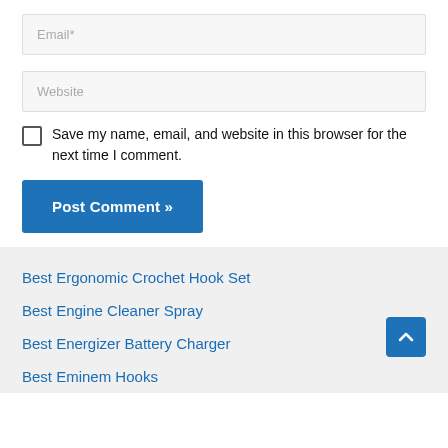Email*
Website
Save my name, email, and website in this browser for the next time I comment.
Post Comment »
Best Ergonomic Crochet Hook Set
Best Engine Cleaner Spray
Best Energizer Battery Charger
Best Eminem Hooks